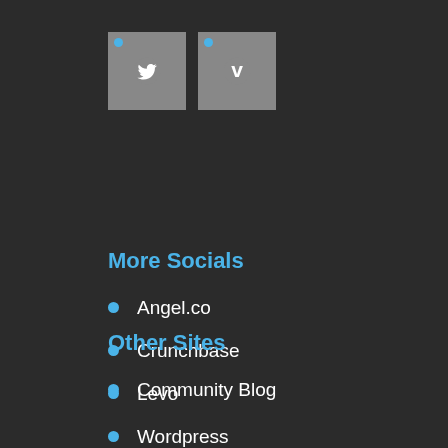[Figure (logo): Twitter social media icon button with blue dot indicator]
[Figure (logo): Vimeo social media icon button with blue dot indicator]
More Socials
Angel.co
Crunchbase
Levo
Wordpress
Other Sites
Community Blog